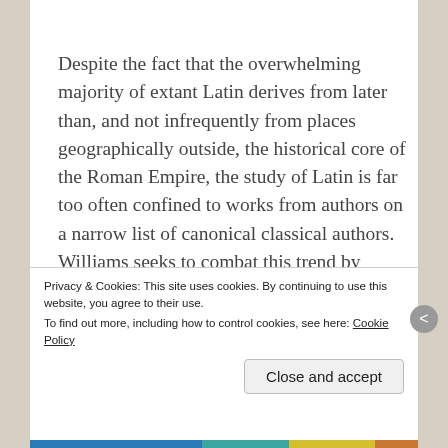Despite the fact that the overwhelming majority of extant Latin derives from later than, and not infrequently from places geographically outside, the historical core of the Roman Empire, the study of Latin is far too often confined to works from authors on a narrow list of canonical classical authors. Williams seeks to combat this trend by making available a well-rounded selection of Latin written about, and even sometimes in, the territories comprising a more
Privacy & Cookies: This site uses cookies. By continuing to use this website, you agree to their use.
To find out more, including how to control cookies, see here: Cookie Policy

Close and accept